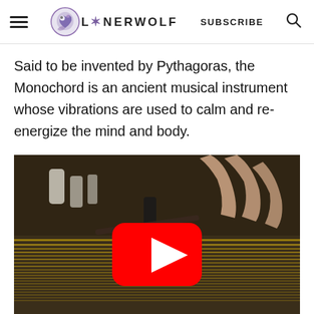LONERWOLF SUBSCRIBE
Said to be invented by Pythagoras, the Monochord is an ancient musical instrument whose vibrations are used to calm and re-energize the mind and body.
[Figure (screenshot): YouTube video thumbnail showing fingers playing a Monochord instrument with strings visible, with a YouTube play button overlay in the center.]